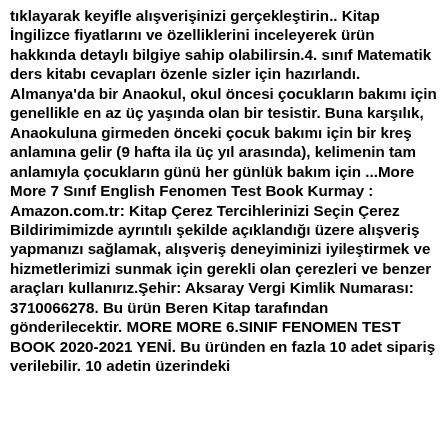tıklayarak keyifle alışverişinizi gerçekleştirin.. Kitap İngilizce fiyatlarını ve özelliklerini inceleyerek ürün hakkında detaylı bilgiye sahip olabilirsin.4. sınıf Matematik ders kitabı cevapları özenle sizler için hazırlandı. Almanya'da bir Anaokul, okul öncesi çocukların bakımı için genellikle en az üç yaşında olan bir tesistir. Buna karşılık, Anaokuluna girmeden önceki çocuk bakımı için bir kreş anlamına gelir (9 hafta ila üç yıl arasında), kelimenin tam anlamıyla çocukların günü her günlük bakım için ...More More 7 Sınıf English Fenomen Test Book Kurmay : Amazon.com.tr: Kitap Çerez Tercihlerinizi Seçin Çerez Bildirimimizde ayrıntılı şekilde açıklandığı üzere alışveriş yapmanızı sağlamak, alışveriş deneyiminizi iyileştirmek ve hizmetlerimizi sunmak için gerekli olan çerezleri ve benzer araçları kullanırız.Şehir: Aksaray Vergi Kimlik Numarası: 3710066278. Bu ürün Beren Kitap tarafından gönderilecektir. MORE MORE 6.SINIF FENOMEN TEST BOOK 2020-2021 YENİ. Bu üründen en fazla 10 adet sipariş verilebilir. 10 adetin üzerindeki